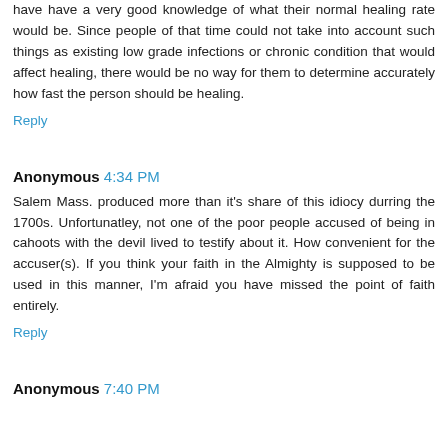have have a very good knowledge of what their normal healing rate would be. Since people of that time could not take into account such things as existing low grade infections or chronic condition that would affect healing, there would be no way for them to determine accurately how fast the person should be healing.
Reply
Anonymous 4:34 PM
Salem Mass. produced more than it's share of this idiocy durring the 1700s. Unfortunatley, not one of the poor people accused of being in cahoots with the devil lived to testify about it. How convenient for the accuser(s). If you think your faith in the Almighty is supposed to be used in this manner, I'm afraid you have missed the point of faith entirely.
Reply
Anonymous 7:40 PM